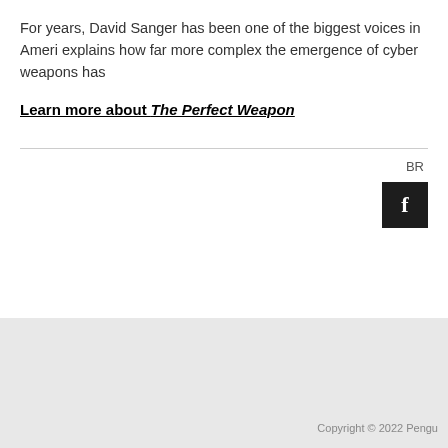For years, David Sanger has been one of the biggest voices in America... explains how far more complex the emergence of cyber weapons has...
Learn more about The Perfect Weapon
BR
Copyright © 2022 Pengu...